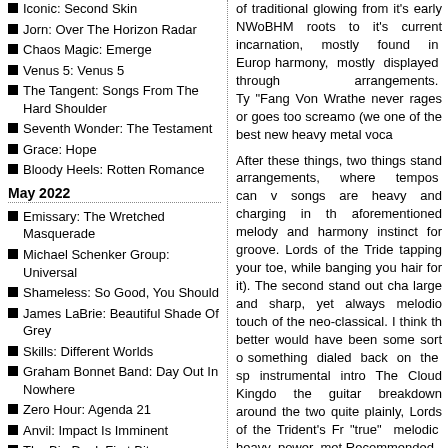Iconic: Second Skin
Jorn: Over The Horizon Radar
Chaos Magic: Emerge
Venus 5: Venus 5
The Tangent: Songs From The Hard Shoulder
Seventh Wonder: The Testament
Grace: Hope
Bloody Heels: Rotten Romance
May 2022
Emissary: The Wretched Masquerade
Michael Schenker Group: Universal
Shameless: So Good, You Should
James LaBrie: Beautiful Shade Of Grey
Skills: Different Worlds
Graham Bonnet Band: Day Out In Nowhere
Zero Hour: Agenda 21
Anvil: Impact Is Imminent
The Big Deal: First Bite
Jeff Scott Soto: Complicated
Pure Reason Revolution: Above Cirrus
of traditional glowing from it's early NWoBHM roots to it's current incarnation, mostly found in Europe harmony, mostly displayed through arrangements. Ty "Fang Von Wrathe never rages or goes too screamo (we one of the best new heavy metal voca
After these things, two things stand arrangements, where tempos can v songs are heavy and charging in th aforementioned melody and harmony instinct for groove. Lords of the Tride tapping your toe, while banging you hair for it). The second stand out cha large and sharp, yet always melodio touch of the neo-classical. I think th better would have been some sort o something dialed back on the sp instrumental intro The Cloud Kingdo the guitar breakdown around the two quite plainly, Lords of the Trident's Fr "true" melodic heavy power met Recommended.